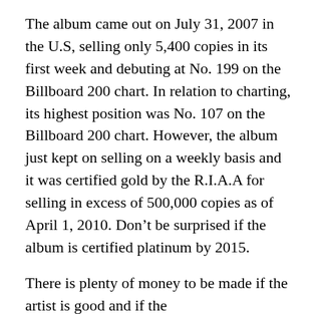The album came out on July 31, 2007 in the U.S, selling only 5,400 copies in its first week and debuting at No. 199 on the Billboard 200 chart. In relation to charting, its highest position was No. 107 on the Billboard 200 chart. However, the album just kept on selling on a weekly basis and it was certified gold by the R.I.A.A for selling in excess of 500,000 copies as of April 1, 2010. Don't be surprised if the album is certified platinum by 2015.
There is plenty of money to be made if the artist is good and if the